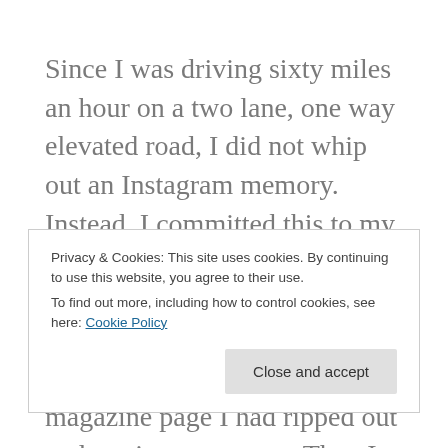Since I was driving sixty miles an hour on a two lane, one way elevated road, I did not whip out an Instagram memory. Instead, I committed this to my mind's memory and sketched it out when I got home on the first piece of paper I found, which happened to be a magazine page I had ripped out and put into my purse. Then I unloaded the car and went inside to my home
Privacy & Cookies: This site uses cookies. By continuing to use this website, you agree to their use.
To find out more, including how to control cookies, see here: Cookie Policy
Close and accept